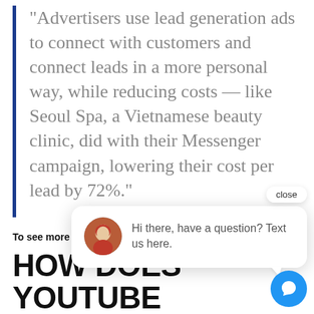“Advertisers use lead generation ads to connect with customers and connect leads in a more personal way, while reducing costs — like Seoul Spa, a Vietnamese beauty clinic, did with their Messenger campaign, lowering their cost per lead by 72%.”
To see more of the upcoming features Facebook is currently testing, check out the full Facebook for Business blog post here.
SEPTEMBER 23, 2021
[Figure (screenshot): Chat popup widget showing a woman's avatar and the message: 'Hi there, have a question? Text us here.' with a close button and a blue chat circle button.]
HOW DOES YOUTUBE